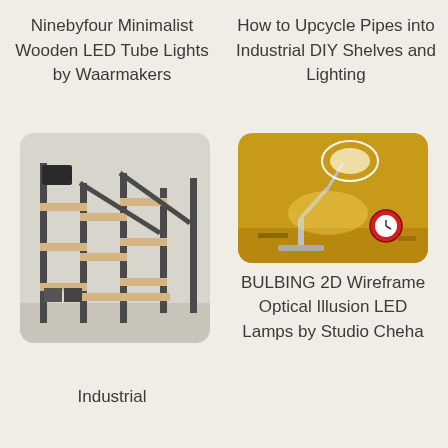Ninebyfour Minimalist Wooden LED Tube Lights by Waarmakers
How to Upcycle Pipes into Industrial DIY Shelves and Lighting
[Figure (photo): Industrial shelving unit made of wood and dark metal pipes, showing a multi-level scaffolding-like shelving structure in a white room]
[Figure (photo): BULBING 2D Wireframe Optical Illusion LED lamp on a yellow desk with a red alarm clock, illuminated in warm golden light]
Industrial
BULBING 2D Wireframe Optical Illusion LED Lamps by Studio Cheha